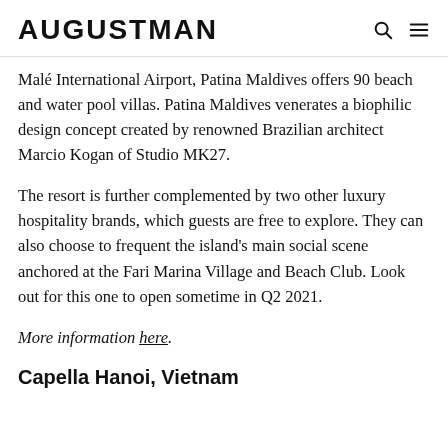AUGUSTMAN
Malé International Airport, Patina Maldives offers 90 beach and water pool villas. Patina Maldives venerates a biophilic design concept created by renowned Brazilian architect Marcio Kogan of Studio MK27.
The resort is further complemented by two other luxury hospitality brands, which guests are free to explore. They can also choose to frequent the island's main social scene anchored at the Fari Marina Village and Beach Club. Look out for this one to open sometime in Q2 2021.
More information here.
Capella Hanoi, Vietnam